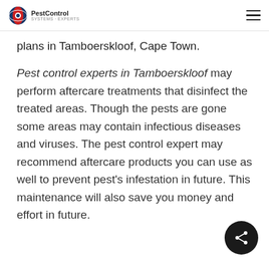PestControl
plans in Tamboerskloof, Cape Town.
Pest control experts in Tamboerskloof may perform aftercare treatments that disinfect the treated areas. Though the pests are gone some areas may contain infectious diseases and viruses. The pest control expert may recommend aftercare products you can use as well to prevent pest's infestation in future. This maintenance will also save you money and effort in future.